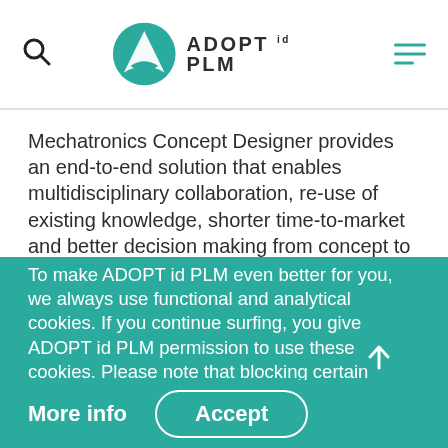ADOPT id PLM
Mechatronics Concept Designer provides an end-to-end solution that enables multidisciplinary collaboration, re-use of existing knowledge, shorter time-to-market and better decision making from concept to production evaluation. The multidisciplinary approach to machine design breaks down the barriers of electrical, mechanical
To make ADOPT id PLM even better for you, we always use functional and analytical cookies. If you continue surfing, you give ADOPT id PLM permission to use these cookies. Please note that blocking certain cookies will prevent this website from functioning correctly.
More info    Accept